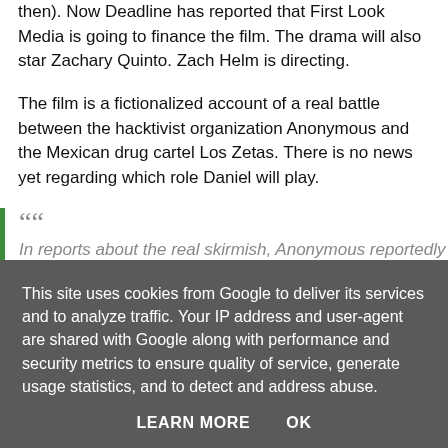then). Now Deadline has reported that First Look Media is going to finance the film. The drama will also star Zachary Quinto. Zach Helm is directing.
The film is a fictionalized account of a real battle between the hacktivist organization Anonymous and the Mexican drug cartel Los Zetas. There is no news yet regarding which role Daniel will play.
In reports about the real skirmish, Anonymous reportedly uncovered 25,000 Mexican government emails that had the names of Zeta members and their business information. The organization threatened to make the documents
This site uses cookies from Google to deliver its services and to analyze traffic. Your IP address and user-agent are shared with Google along with performance and security metrics to ensure quality of service, generate usage statistics, and to detect and address abuse.
LEARN MORE    OK